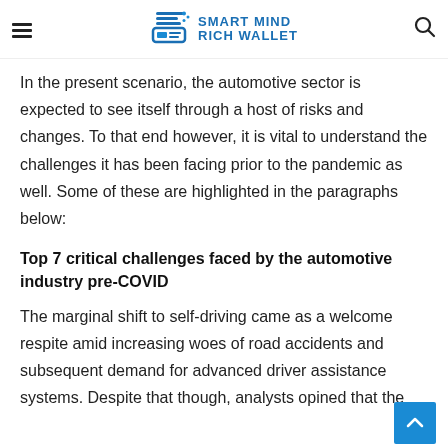SMART MIND RICH WALLET
In the present scenario, the automotive sector is expected to see itself through a host of risks and changes. To that end however, it is vital to understand the challenges it has been facing prior to the pandemic as well. Some of these are highlighted in the paragraphs below:
Top 7 critical challenges faced by the automotive industry pre-COVID
The marginal shift to self-driving came as a welcome respite amid increasing woes of road accidents and subsequent demand for advanced driver assistance systems. Despite that though, analysts opined that the